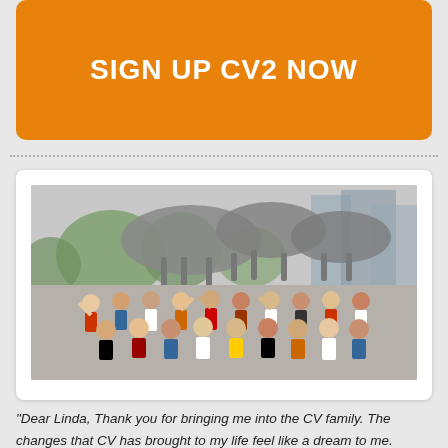SIGN UP CV2 NOW
[Figure (photo): Group photo of approximately 30 people posing in front of a large horse sculpture, outdoors with trees and buildings visible in the background.]
“Dear Linda, Thank you for bringing me into the CV family. The changes that CV has brought to my life feel like a dream to me. Awareness has helped my life become more colorful and rich, connection has brought harmony within my family, being present helped me experience the wonderful feelings that I have neglected before.
The color work and energy work have become my daily tools. Ma… umptions, no